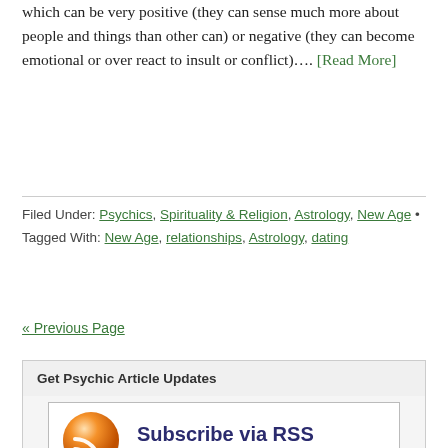which can be very positive (they can sense much more about people and things than other can) or negative (they can become emotional or over react to insult or conflict)…. [Read More]
Filed Under: Psychics, Spirituality & Religion, Astrology, New Age • Tagged With: New Age, relationships, Astrology, dating
« Previous Page
Get Psychic Article Updates
[Figure (infographic): Subscribe via RSS banner with orange RSS orb icon, purple bold text 'Subscribe via RSS', and green text 'CLICK FOR ARTICLE UPDATES']